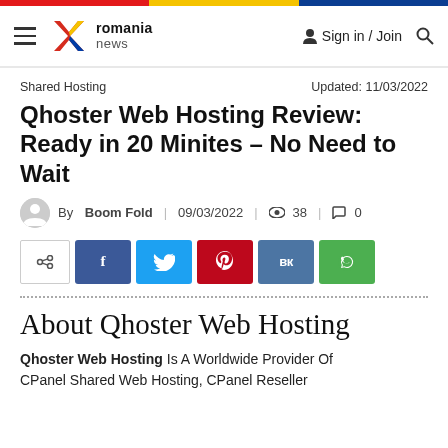romania news | Sign in / Join
Shared Hosting
Updated: 11/03/2022
Qhoster Web Hosting Review: Ready in 20 Minites – No Need to Wait
By Boom Fold | 09/03/2022 | 38 | 0
[Figure (infographic): Social share buttons: share toggle, Facebook, Twitter, Pinterest, VK, WhatsApp]
About Qhoster Web Hosting
Qhoster Web Hosting Is A Worldwide Provider Of CPanel Shared Web Hosting, CPanel Reseller